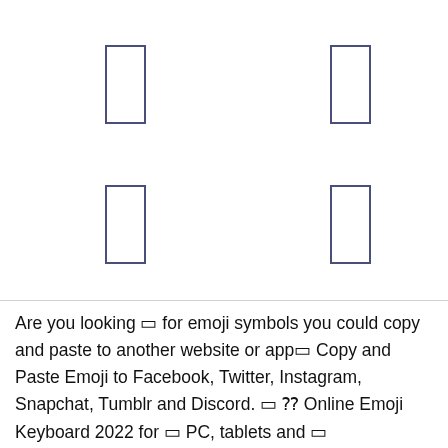[Figure (other): Four rectangular outline boxes arranged in a 2x2 grid pattern, drawn with dark blue-gray borders on white background]
Are you looking □ for emoji symbols you could copy and paste to another website or app□ Copy and Paste Emoji to Facebook, Twitter, Instagram, Snapchat, Tumblr and Discord. □ □ Online Emoji Keyboard 2022 for □ PC, tablets and □ smartphones. Copy